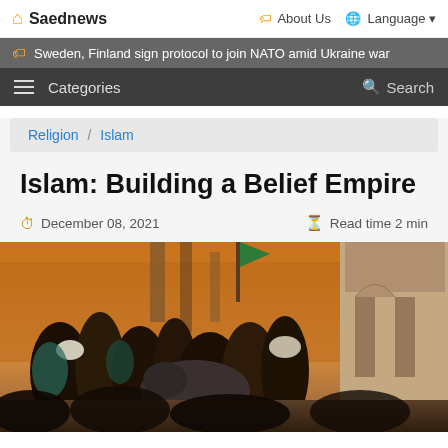Saednews | About Us | Language
Sweden, Finland sign protocol to join NATO amid Ukraine war
Categories | Search
Religion / Islam
Islam: Building a Belief Empire
December 08, 2021 | Read time 2 min
[Figure (photo): Historical painting depicting Islamic warriors on horseback moving through a city archway, with flags and turbaned figures in a battle or procession scene.]